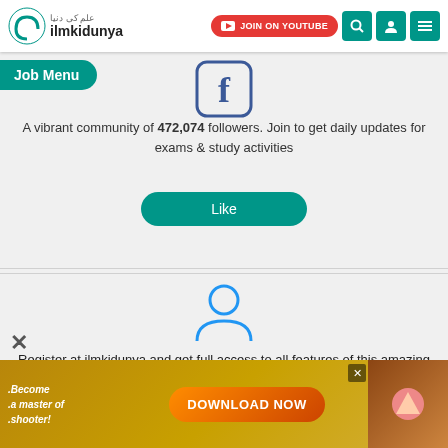[Figure (screenshot): ilmkidunya website navigation bar with logo, JOIN ON YOUTUBE button, search, user and menu icons]
Job Menu
[Figure (logo): Facebook logo icon in blue outline style]
A vibrant community of 472,074 followers. Join to get daily updates for exams & study activities
[Figure (illustration): Like button in teal/green rounded rectangle]
[Figure (illustration): User/person icon in blue outline style]
Register at ilmkidunya and get full access to all features of this amazing study resource.
[Figure (illustration): Register button in teal/green rounded rectangle]
[Figure (illustration): Advertisement banner: Become a master of shooter! DOWNLOAD NOW]